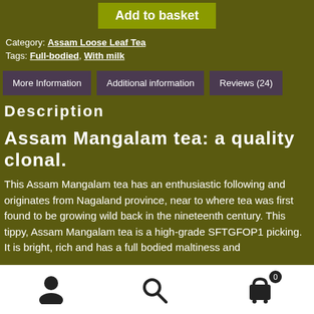Add to basket
Category: Assam Loose Leaf Tea
Tags: Full-bodied, With milk
More Information | Additional information | Reviews (24)
Description
Assam Mangalam tea: a quality clonal.
This Assam Mangalam tea has an enthusiastic following and originates from Nagaland province, near to where tea was first found to be growing wild back in the nineteenth century. This tippy, Assam Mangalam tea is a high-grade SFTGFOP1 picking. It is bright, rich and has a full bodied maltiness and
User | Search | Cart (0)